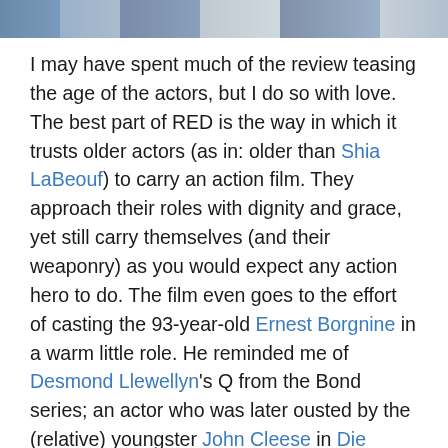[Figure (photo): Partial photo strip at top of page showing people, likely movie-related image cropped at top]
I may have spent much of the review teasing the age of the actors, but I do so with love. The best part of RED is the way in which it trusts older actors (as in: older than Shia LaBeouf) to carry an action film. They approach their roles with dignity and grace, yet still carry themselves (and their weaponry) as you would expect any action hero to do. The film even goes to the effort of casting the 93-year-old Ernest Borgnine in a warm little role. He reminded me of Desmond Llewellyn's Q from the Bond series; an actor who was later ousted by the (relative) youngster John Cleese in Die Another Day. Something about replacing Q didn't feel right. After all, James Bond's aren't replaced when they become too old – they're replaced when they stop being cool. Willis, Malkovich, Freeman, Mirren – and even Borgnine – are yet to jump that shark.